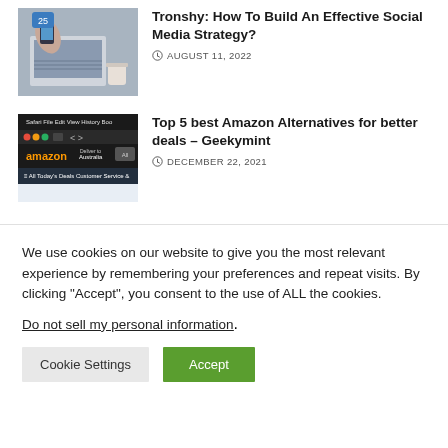Tronshy: How To Build An Effective Social Media Strategy?
AUGUST 11, 2022
[Figure (photo): Person using smartphone near a laptop and coffee cup]
Top 5 best Amazon Alternatives for better deals – Geekymint
DECEMBER 22, 2021
[Figure (screenshot): Screenshot of Amazon website open in Safari browser]
We use cookies on our website to give you the most relevant experience by remembering your preferences and repeat visits. By clicking "Accept", you consent to the use of ALL the cookies.
Do not sell my personal information.
Cookie Settings
Accept